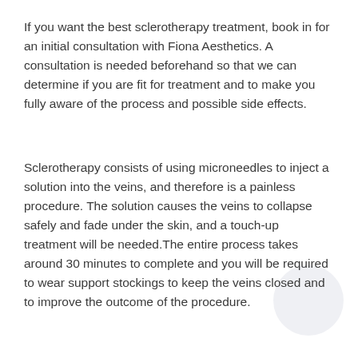If you want the best sclerotherapy treatment, book in for an initial consultation with Fiona Aesthetics. A consultation is needed beforehand so that we can determine if you are fit for treatment and to make you fully aware of the process and possible side effects.
Sclerotherapy consists of using microneedles to inject a solution into the veins, and therefore is a painless procedure. The solution causes the veins to collapse safely and fade under the skin, and a touch-up treatment will be needed.The entire process takes around 30 minutes to complete and you will be required to wear support stockings to keep the veins closed and to improve the outcome of the procedure.
If you have been looking for the best sclerotherapy treatment available, contact Fiona Aesthetics today. Give us a call on 07815 904578 and speak to a member of our team. Alternatively, send us an email